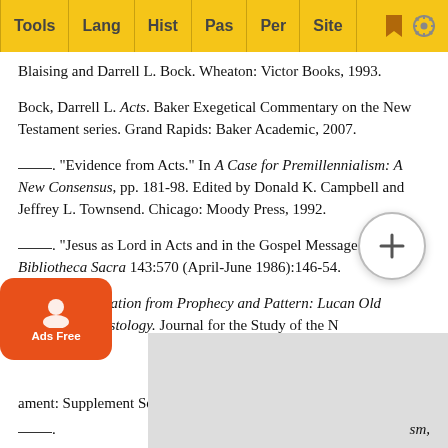Tools | Lang | Hist | Pas | Per | Site
Blaising and Darrell L. Bock. Wheaton: Victor Books, 1993.
Bock, Darrell L. Acts. Baker Exegetical Commentary on the New Testament series. Grand Rapids: Baker Academic, 2007.
____. "Evidence from Acts." In A Case for Premillennialism: A New Consensus, pp. 181-98. Edited by Donald K. Campbell and Jeffrey L. Townsend. Chicago: Moody Press, 1992.
____. "Jesus as Lord in Acts and in the Gospel Message." Bibliotheca Sacra 143:570 (April-June 1986):146-54.
____. Proclamation from Prophecy and Pattern: Lucan Old Testament Christology. Journal for the Study of the New Testament: Supplement Series 12. Sheffield, Eng.: JSOT Press, 1987.
____. [partially obscured] ...sm, ...